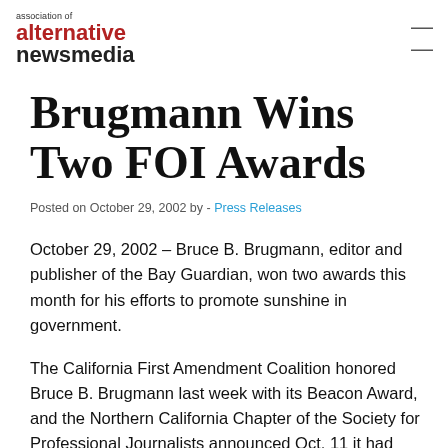association of alternative newsmedia
Brugmann Wins Two FOI Awards
Posted on October 29, 2002 by - Press Releases
October 29, 2002 – Bruce B. Brugmann, editor and publisher of the Bay Guardian, won two awards this month for his efforts to promote sunshine in government.
The California First Amendment Coalition honored Bruce B. Brugmann last week with its Beacon Award, and the Northern California Chapter of the Society for Professional Journalists announced Oct. 11 it had chosen Brugmann as